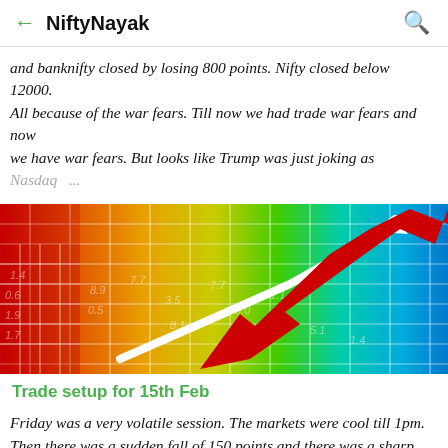NiftyNayak
and banknifty closed by losing 800 points. Nifty closed below 12000. All because of the war fears. Till now we had trade war fears and now we have war fears. But looks like Trump was just joking as Nasdaq ...
[Figure (illustration): Colorful 3D rainbow grid chart with a large red arrow and white arrow pointing upward, symbolizing market trends and price movements with numbers overlaid on a spectrum background.]
Trade setup for 15th Feb
Friday was a very volatile session. The markets were cool till 1pm. Then there was a sudden fall of 150 points and there was a sharp recovery of close to 100 points. Now we are in a clear consolidation